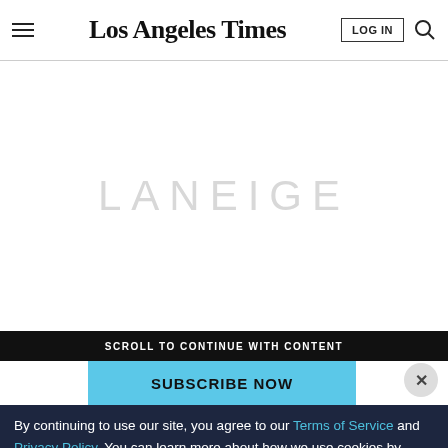Los Angeles Times
[Figure (logo): LANEIGE advertisement logo displayed in large light gray letters on white background]
SCROLL TO CONTINUE WITH CONTENT
SUBSCRIBE NOW
By continuing to use our site, you agree to our Terms of Service and Privacy Policy. You can learn more about how we use cookies by reviewing our Privacy Policy. Close